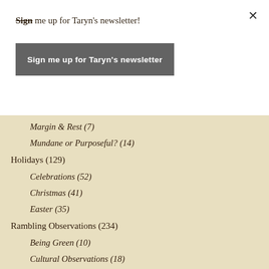Sign me up for Taryn's newsletter!
Sign me up for Taryn's newsletter
Margin & Rest (7)
Mundane or Purposeful? (14)
Holidays (129)
Celebrations (52)
Christmas (41)
Easter (35)
Rambling Observations (234)
Being Green (10)
Cultural Observations (18)
Current Events (69)
Family Stuff (38)
Moving House (19)
Ramblings (59)